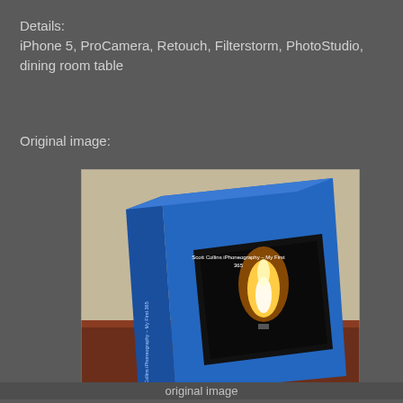Details:
iPhone 5, ProCamera, Retouch, Filterstorm, PhotoStudio, dining room table
Original image:
[Figure (photo): A blue hardcover photo book titled 'Scott Collins iPhoneography – My First 365' standing upright on a wooden dining room table. The book cover shows a photograph of a candle flame against a dark background. The book spine is visible on the left side.]
original image